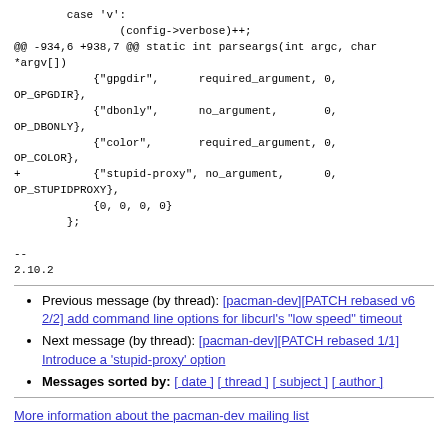case 'v':
        (config->verbose)++;
@@ -934,6 +938,7 @@ static int parseargs(int argc, char *argv[])
            {"gpgdir",      required_argument, 0,
OP_GPGDIR},
            {"dbonly",      no_argument,       0,
OP_DBONLY},
            {"color",       required_argument, 0,
OP_COLOR},
+           {"stupid-proxy", no_argument,      0,
OP_STUPIDPROXY},
            {0, 0, 0, 0}
        };

--
2.10.2
Previous message (by thread): [pacman-dev][PATCH rebased v6 2/2] add command line options for libcurl's "low speed" timeout
Next message (by thread): [pacman-dev][PATCH rebased 1/1] Introduce a 'stupid-proxy' option
Messages sorted by: [ date ] [ thread ] [ subject ] [ author ]
More information about the pacman-dev mailing list